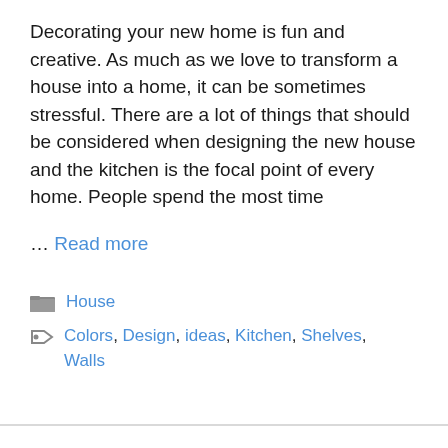Decorating your new home is fun and creative. As much as we love to transform a house into a home, it can be sometimes stressful. There are a lot of things that should be considered when designing the new house and the kitchen is the focal point of every home. People spend the most time ... Read more
House
Colors, Design, ideas, Kitchen, Shelves, Walls
← Previous  1  2